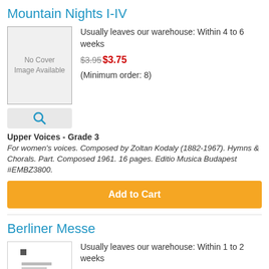Mountain Nights I-IV
[Figure (illustration): No Cover Image Available placeholder with grey background]
Usually leaves our warehouse: Within 4 to 6 weeks
$3.95$3.75
(Minimum order: 8)
Upper Voices - Grade 3
For women's voices. Composed by Zoltan Kodaly (1882-1967). Hymns & Chorals. Part. Composed 1961. 16 pages. Editio Musica Budapest #EMBZ3800.
Add to Cart
Berliner Messe
[Figure (illustration): Book cover thumbnail for Berliner Messe]
Usually leaves our warehouse: Within 1 to 2 weeks
$27.95$26.55